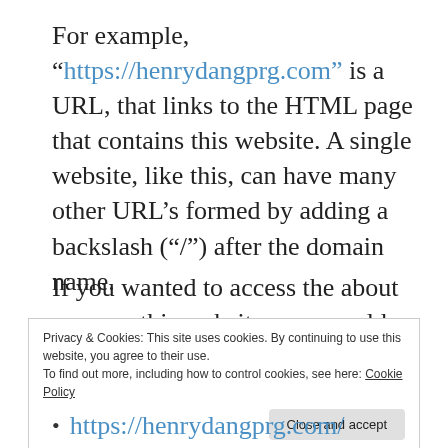For example, “https://henrydangprg.com”; is a URL, that links to the HTML page that contains this website. A single website, like this, can have many other URL’s formed by adding a backslash (“/”) after the domain name.
If you wanted to access the about page on this website, you would add “/about/” to the end of the home page’s URL. It can be visualized like a tree.
Privacy & Cookies: This site uses cookies. By continuing to use this website, you agree to their use.
To find out more, including how to control cookies, see here: Cookie Policy
Close and accept
https://henrydangprg.com/